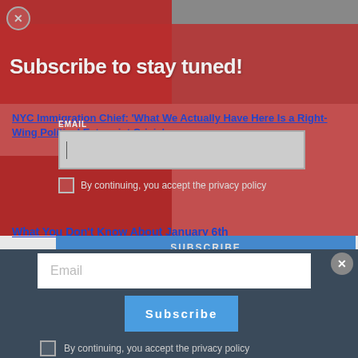[Figure (screenshot): Website screenshot showing a newsletter subscription overlay. Red background with subscriber form, article headlines visible behind, blue subscribe button at bottom.]
Subscribe to stay tuned!
EMAIL
By continuing, you accept the privacy policy
NYC Immigration Chief: 'What We Actually Have Here Is a Right-Wing Political Extremist Crisis'
What You Don't Know About January 6th
SUBSCRIBE
Email
Subscribe
By continuing, you accept the privacy policy